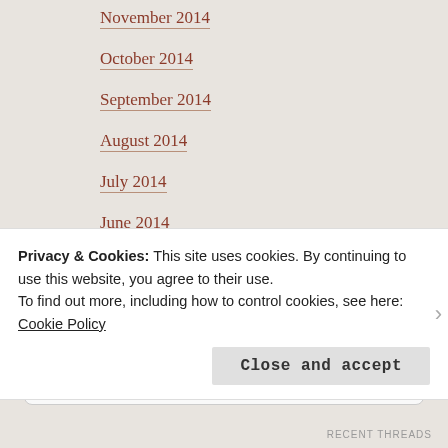November 2014
October 2014
September 2014
August 2014
July 2014
June 2014
GOODREADS
R Is for Ramadan
Privacy & Cookies: This site uses cookies. By continuing to use this website, you agree to their use.
To find out more, including how to control cookies, see here: Cookie Policy
Close and accept
RECENT THREADS